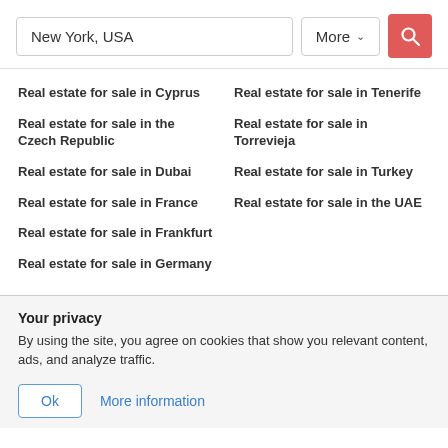New York, USA
Real estate for sale in Cyprus
Real estate for sale in the Czech Republic
Real estate for sale in Dubai
Real estate for sale in France
Real estate for sale in Frankfurt
Real estate for sale in Germany
Real estate for sale in Tenerife
Real estate for sale in Torrevieja
Real estate for sale in Turkey
Real estate for sale in the UAE
Your privacy
By using the site, you agree on cookies that show you relevant content, ads, and analyze traffic.
Ok   More information